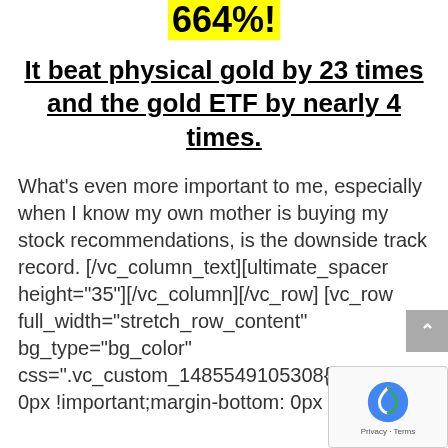664%!
It beat physical gold by 23 times and the gold ETF by nearly 4 times.
What's even more important to me, especially when I know my own mother is buying my stock recommendations, is the downside track record. [/vc_column_text][ultimate_spacer height="35"][/vc_column][/vc_row][vc_row full_width="stretch_row_content" bg_type="bg_color" css=".vc_custom_1485549105308{ma top: 0px !important;margin-bottom: 0px